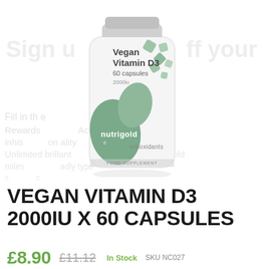[Figure (photo): Nutrigold Vegan Vitamin D3 supplement bottle, 60 capsules, 2000iu, with green leaf design and antioxidants label. White cylindrical bottle with sage green botanical illustration. FOOD SUPPLEMENT text at base. Watermark text partially visible in background.]
VEGAN VITAMIN D3 2000IU X 60 CAPSULES
£8.90 £11.12 In Stock SKU NC027